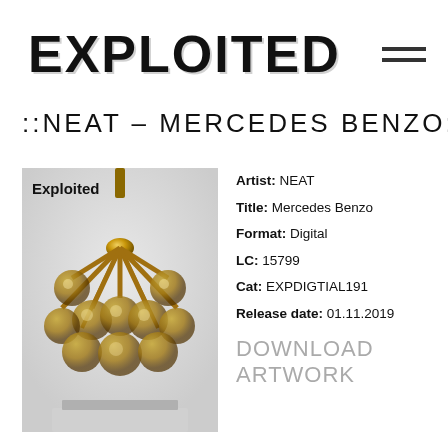[Figure (logo): EXPLOITED label logo in large bold distressed black text with a hamburger menu icon on the right]
::NEAT – MERCEDES BENZO::
[Figure (photo): Photo of a gold sputnik chandelier with multiple glass globe bulbs, labeled 'Exploited' in the top-left corner]
Artist: NEAT
Title: Mercedes Benzo
Format: Digital
LC: 15799
Cat: EXPDIGTIAL191
Release date: 01.11.2019
DOWNLOAD ARTWORK